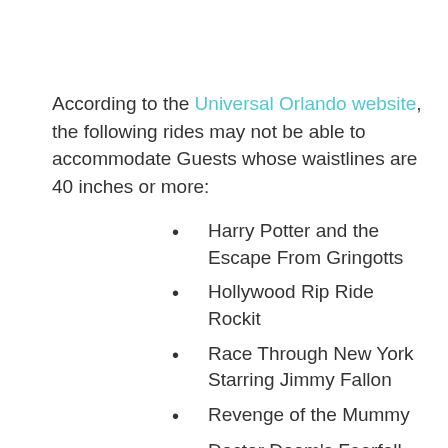According to the Universal Orlando website, the following rides may not be able to accommodate Guests whose waistlines are 40 inches or more:
Harry Potter and the Escape From Gringotts
Hollywood Rip Ride Rockit
Race Through New York Starring Jimmy Fallon
Revenge of the Mummy
Doctor Doom's Fearfall
Dudley Do-Right's Ripsaw Falls
Hagrid's Magical Creatures Motorbike Adventure
Harry Potter and the Forbidden Journey